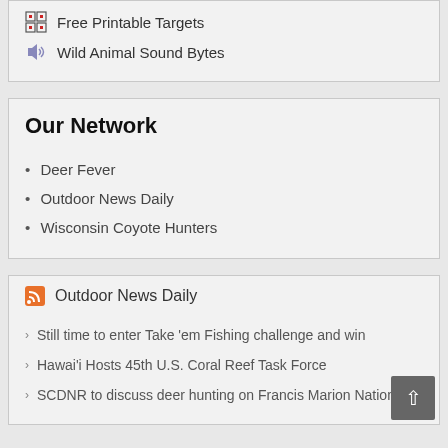Free Printable Targets
Wild Animal Sound Bytes
Our Network
Deer Fever
Outdoor News Daily
Wisconsin Coyote Hunters
Outdoor News Daily
Still time to enter Take 'em Fishing challenge and win
Hawai'i Hosts 45th U.S. Coral Reef Task Force
SCDNR to discuss deer hunting on Francis Marion National